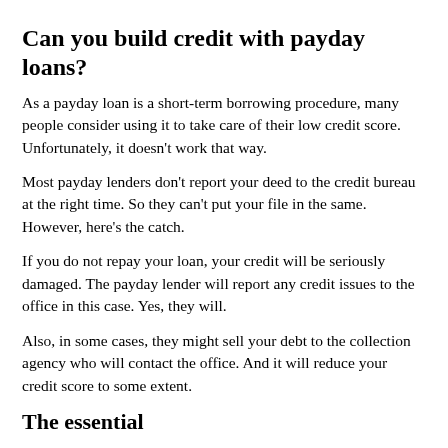Can you build credit with payday loans?
As a payday loan is a short-term borrowing procedure, many people consider using it to take care of their low credit score. Unfortunately, it doesn't work that way.
Most payday lenders don't report your deed to the credit bureau at the right time. So they can't put your file in the same. However, here's the catch.
If you do not repay your loan, your credit will be seriously damaged. The payday lender will report any credit issues to the office in this case. Yes, they will.
Also, in some cases, they might sell your debt to the collection agency who will contact the office. And it will reduce your credit score to some extent.
The essential
A payday loan, in essence, is a high-risk, low-return investment. Therefore, we don't think you can get much benefit from taking it. However, if you think you will be able to repay all the money you